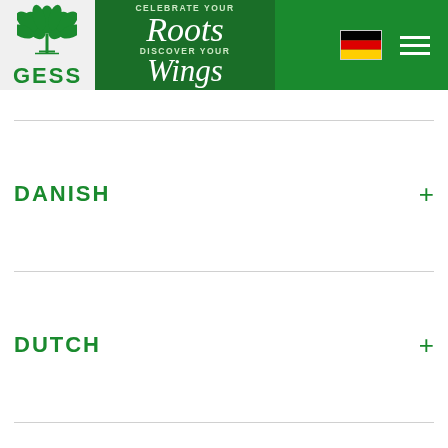[Figure (logo): GESS logo with leaf/plant icon and tagline 'Celebrate Your Roots Discover Your Wings' on green background, with German flag and hamburger menu]
DANISH
DUTCH